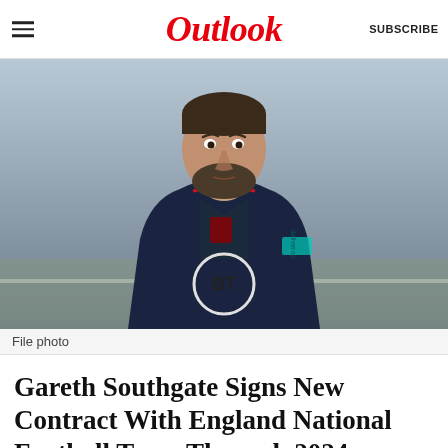Outlook  SUBSCRIBE
[Figure (photo): Man wearing England national football team navy blue training jacket and BT-sponsored shirt, walking outdoors, file photo]
File photo
Gareth Southgate Signs New Contract With England National Football Team Through 2024